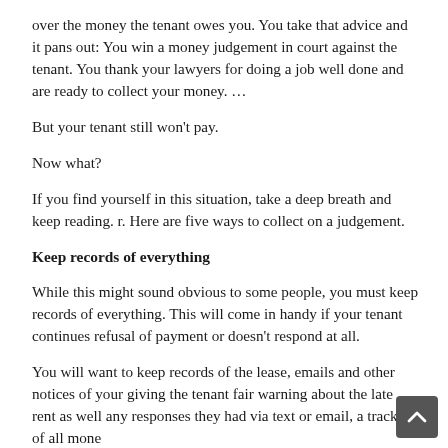over the money the tenant owes you. You take that advice and it pans out: You win a money judgement in court against the tenant. You thank your lawyers for doing a job well done and are ready to collect your money. …
But your tenant still won't pay.
Now what?
If you find yourself in this situation, take a deep breath and keep reading. r. Here are five ways to collect on a judgement.
Keep records of everything
While this might sound obvious to some people, you must keep records of everything. This will come in handy if your tenant continues refusal of payment or doesn't respond at all.
You will want to keep records of the lease, emails and other notices of your giving the tenant fair warning about the late rent as well any responses they had via text or email, a tracking of all mone